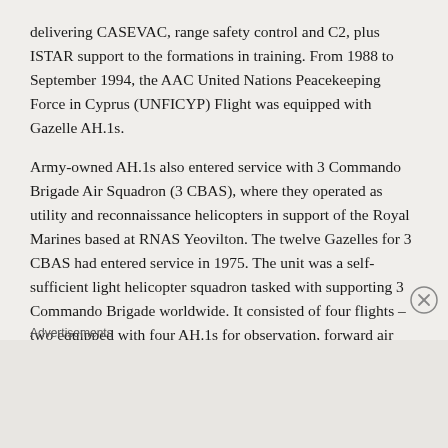delivering CASEVAC, range safety control and C2, plus ISTAR support to the formations in training. From 1988 to September 1994, the AAC United Nations Peacekeeping Force in Cyprus (UNFICYP) Flight was equipped with Gazelle AH.1s.

Army-owned AH.1s also entered service with 3 Commando Brigade Air Squadron (3 CBAS), where they operated as utility and reconnaissance helicopters in support of the Royal Marines based at RNAS Yeovilton. The twelve Gazelles for 3 CBAS had entered service in 1975. The unit was a self-sufficient light helicopter squadron tasked with supporting 3 Commando Brigade worldwide. It consisted of four flights – two equipped with four AH.1s for observation, forward air control (FAC), liaison and CASEVAC, one of six TOW-equipped Lynx AH.1s and a HQ
Advertisements